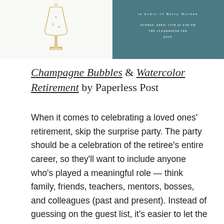[Figure (illustration): Two images side by side: left shows a minimalist champagne glass line drawing on white background; right shows a teal/dark cyan watercolor retirement invitation card with white text 'In honor of Barry Worden' and event details.]
Champagne Bubbles & Watercolor Retirement by Paperless Post
When it comes to celebrating a loved ones' retirement, skip the surprise party. The party should be a celebration of the retiree's entire career, so they'll want to include anyone who's played a meaningful role — think family, friends, teachers, mentors, bosses, and colleagues (past and present). Instead of guessing on the guest list, it's easier to let the honoree know you're planning something so they can give their input. You don't have to divulge to them all of your retirement party ideas and plans, but definitely ask the guest of honor who they want included on the guest list. The ultimate goal is that